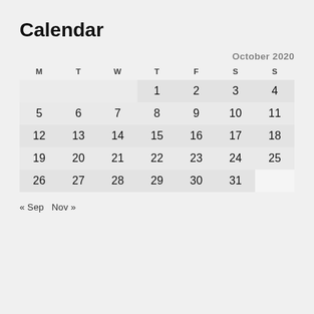Calendar
| M | T | W | T | F | S | S |
| --- | --- | --- | --- | --- | --- | --- |
|  |  |  | 1 | 2 | 3 | 4 |
| 5 | 6 | 7 | 8 | 9 | 10 | 11 |
| 12 | 13 | 14 | 15 | 16 | 17 | 18 |
| 19 | 20 | 21 | 22 | 23 | 24 | 25 |
| 26 | 27 | 28 | 29 | 30 | 31 |  |
« Sep  Nov »